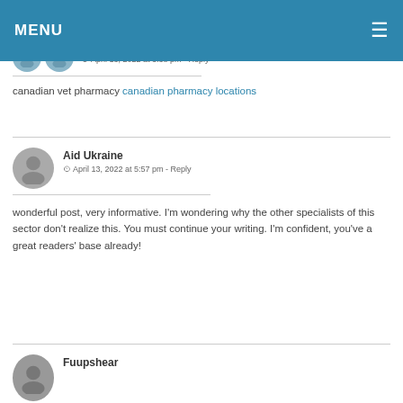MENU
AnuoWeeriobre
April 13, 2022 at 3:38 pm - Reply
canadian vet pharmacy canadian pharmacy locations
Aid Ukraine
April 13, 2022 at 5:57 pm - Reply
wonderful post, very informative. I'm wondering why the other specialists of this sector don't realize this. You must continue your writing. I'm confident, you've a great readers' base already!
Fuupshear